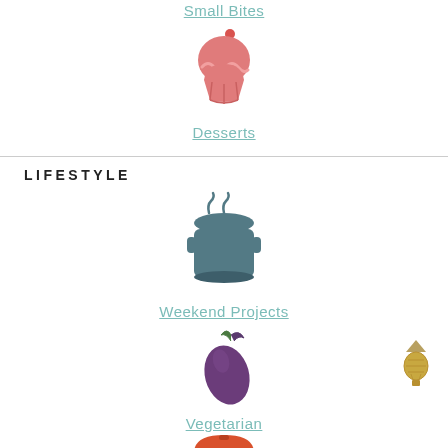Small Bites
[Figure (illustration): Pink cupcake icon with cherry on top]
Desserts
LIFESTYLE
[Figure (illustration): Teal/dark blue cooking pot icon with lid]
Weekend Projects
[Figure (illustration): Purple eggplant icon]
Vegetarian
[Figure (illustration): Orange barbecue grill icon]
[Figure (illustration): Small gold hot air balloon back-to-top icon]